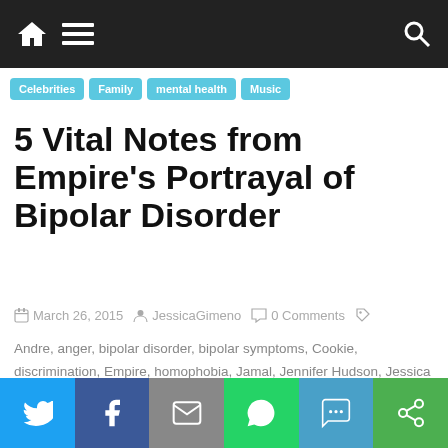Navigation bar with home, menu, and search icons
Celebrities
Family
mental health
Music
5 Vital Notes from Empire's Portrayal of Bipolar Disorder
March 26, 2015  JessicaGimeno  0 Comments
Andre, anger, bipolar disorder, bipolar symptoms, Cookie, discrimination, Empire, homophobia, Jamal, Jennifer Hudson, Jessica Gimeno, Lucious Lyon, mania, mental health stigma, mental illness, minorities and mental illness, musical therapy, Myasthenia Gravis, racism, spending spree, support network, Terrence Howard, Trai Beyers
Last Wednesday, I watched Empire for the first time.  In
Social share bar: Twitter, Facebook, Email, WhatsApp, SMS, More